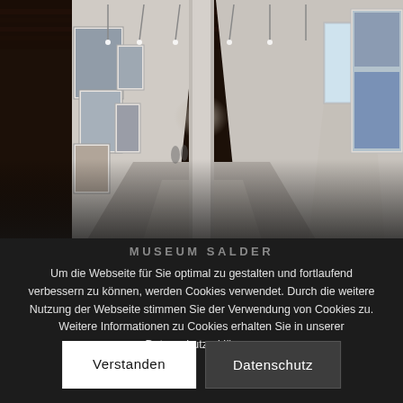[Figure (photo): Interior of Museum Salder — a long gallery hall with white walls hung with large framed photographs/artworks, wooden beam ceiling with track lighting, polished concrete floor, and a round column in the middle. The perspective leads deep into the hall. A large artwork is visible on the right edge.]
MUSEUM SALDER
Um die Webseite für Sie optimal zu gestalten und fortlaufend verbessern zu können, werden Cookies verwendet. Durch die weitere Nutzung der Webseite stimmen Sie der Verwendung von Cookies zu. Weitere Informationen zu Cookies erhalten Sie in unserer Datenschutzerklärung.
Verstanden
Datenschutz